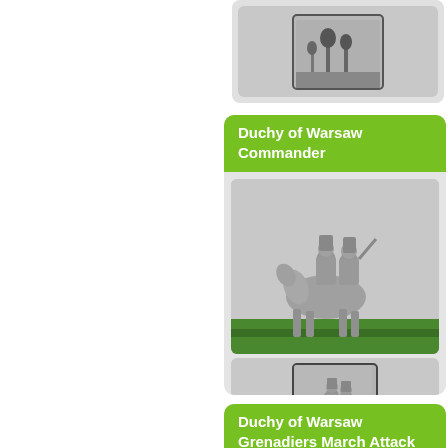[Figure (photo): Partial card at top showing a small thumbnail photo of miniature figurines on a grey background]
Duchy of Warsaw Commander
[Figure (photo): Large photo of unpainted grey metal miniature figurines (cavalry commander on horseback) placed on a green surface against a white/grey background]
[Figure (photo): Small thumbnail showing cavalry miniature figurines on green surface]
Duchy of Warsaw Grenadiers March Attack
[Figure (photo): Partial view of miniature figurines at bottom of page]